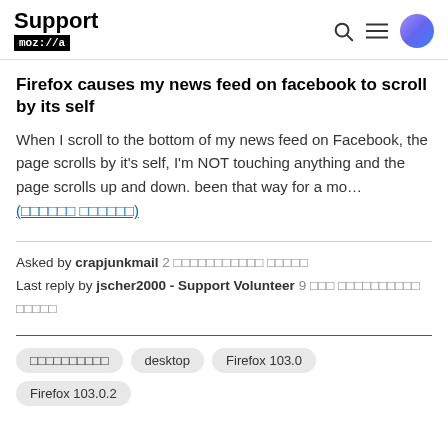Support mozilla
Firefox causes my news feed on facebook to scroll by its self
When I scroll to the bottom of my news feed on Facebook, the page scrolls by it's self, I'm NOT touching anything and the page scrolls up and down. been that way for a mo…
(read more)
Asked by crapjunkmail 2 [translated text] ago
Last reply by jscher2000 - Support Volunteer 9 [translated text] ago
[tag]
desktop
Firefox 103.0
Firefox 103.0.2